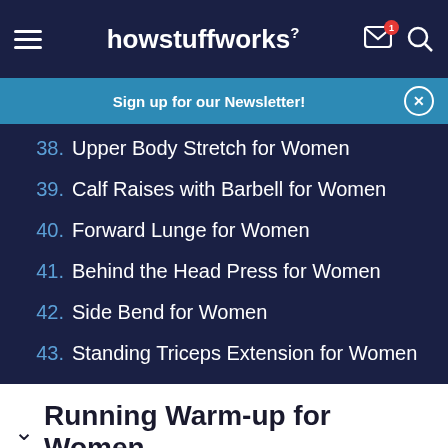howstuffworks
Sign up for our Newsletter!
38. Upper Body Stretch for Women
39. Calf Raises with Barbell for Women
40. Forward Lunge for Women
41. Behind the Head Press for Women
42. Side Bend for Women
43. Standing Triceps Extension for Women
Running Warm-up for Women
Get the HowStuffWorks Newsletter! Sign Up